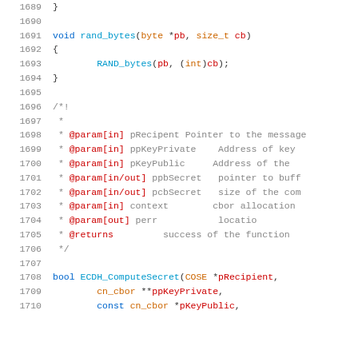[Figure (screenshot): Source code listing showing C/C++ code with line numbers 1689-1710, including a rand_bytes function definition and Doxygen-style comment block for ECDH_ComputeSecret function, with syntax highlighting in blue, red, and gray colors on white background.]